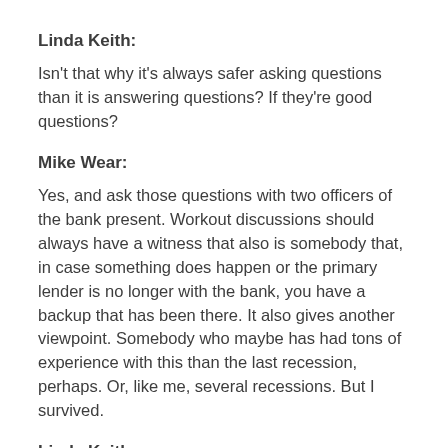Linda Keith:
Isn't that why it's always safer asking questions than it is answering questions? If they're good questions?
Mike Wear:
Yes, and ask those questions with two officers of the bank present. Workout discussions should always have a witness that also is somebody that, in case something does happen or the primary lender is no longer with the bank, you have a backup that has been there. It also gives another viewpoint. Somebody who maybe has had tons of experience with this than the last recession, perhaps. Or, like me, several recessions. But I survived.
Linda Keith: